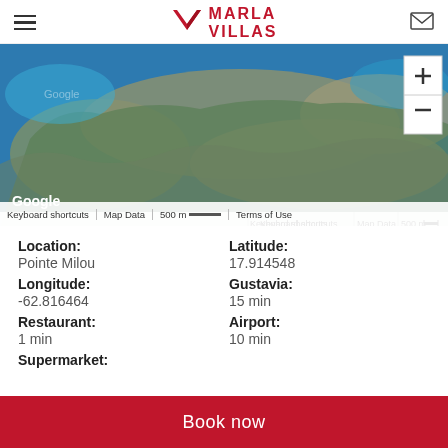Marla Villas
[Figure (map): Satellite map view of Pointe Milou area, St. Barthelemy island, showing coastline and turquoise water. Google Maps interface with zoom controls and footer bar showing Keyboard shortcuts, Map Data, 500 m scale, Terms of Use.]
Location: Pointe Milou | Latitude: 17.914548 | Longitude: -62.816464 | Gustavia: 15 min | Restaurant: 1 min | Airport: 10 min | Supermarket:
Book now